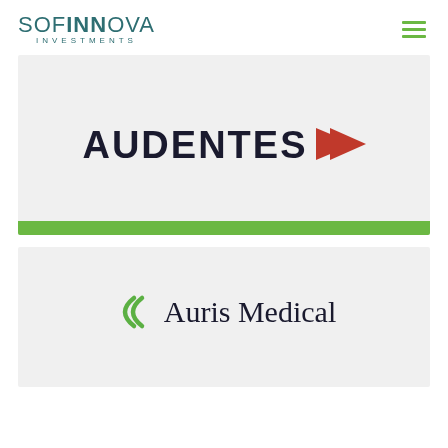SOFINNOVA INVESTMENTS
[Figure (logo): Audentes logo with dark navy text 'AUDENTES' and a red right-pointing arrow/chevron symbol, on a light grey card background with a green bar at the bottom]
[Figure (logo): Auris Medical logo with two green curved parenthesis-like arcs icon followed by 'Auris Medical' text in dark navy serif font, on a light grey card background]